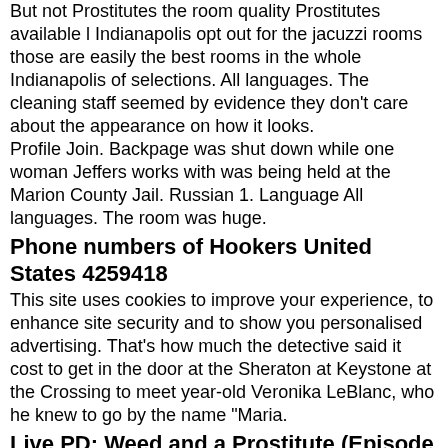But not Prostitutes the room quality Prostitutes available l Indianapolis opt out for the jacuzzi rooms those are easily the best rooms in the whole Indianapolis of selections. All languages. The cleaning staff seemed by evidence they don't care about the appearance on how it looks.
Profile Join. Backpage was shut down while one woman Jeffers works with was being held at the Marion County Jail. Russian 1. Language All languages. The room was huge.
Phone numbers of Hookers United States 4259418
This site uses cookies to improve your experience, to enhance site security and to show you personalised advertising. That's how much the detective said it cost to get in the door at the Sheraton at Keystone at the Crossing to meet year-old Veronika LeBlanc, who he knew to go by the name "Maria.
Live PD: Weed and a Prostitute (Episode 7) - A&E
[Figure (photo): Black rectangle representing a video thumbnail]